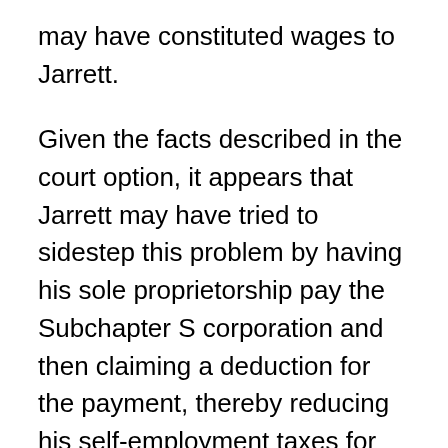may have constituted wages to Jarrett.
Given the facts described in the court option, it appears that Jarrett may have tried to sidestep this problem by having his sole proprietorship pay the Subchapter S corporation and then claiming a deduction for the payment, thereby reducing his self-employment taxes for his sole proprietorship rather than reducing his payroll taxes using just a Subchapter S corporation.
Notwithstanding the nominal amounts involved, it seems as if this type of